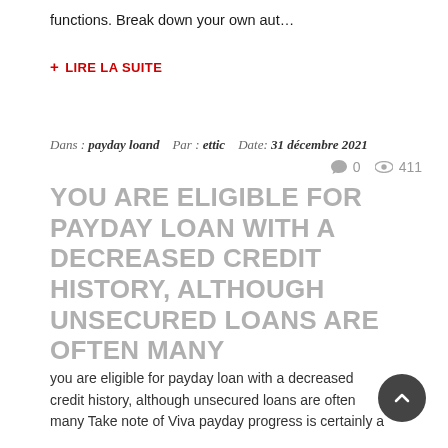functions. Break down your own aut…
+ LIRE LA SUITE
Dans : payday loand   Par : ettic   Date: 31 décembre 2021
💬 0  👁 411
YOU ARE ELIGIBLE FOR PAYDAY LOAN WITH A DECREASED CREDIT HISTORY, ALTHOUGH UNSECURED LOANS ARE OFTEN MANY
you are eligible for payday loan with a decreased credit history, although unsecured loans are often many Take note of Viva payday progress is certainly a
[Figure (other): Dark circular scroll-to-top button with upward chevron arrow]